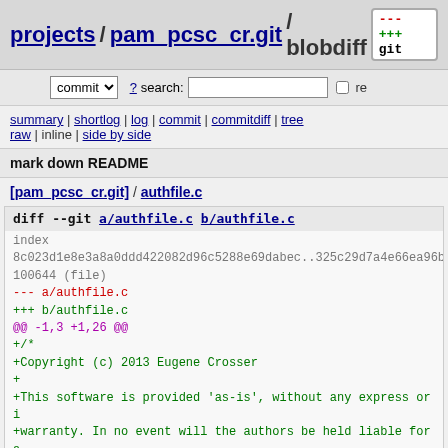projects / pam_pcsc_cr.git / blobdiff  +++ git
commit ? search:  re
summary | shortlog | log | commit | commitdiff | tree
raw | inline | side by side
mark down README
[pam_pcsc_cr.git] / authfile.c
diff --git a/authfile.c b/authfile.c
index
8c023d1e8e3a8a0ddd422082d96c5288e69dabec..325c29d7a4e66ea96b
100644 (file)
--- a/authfile.c
+++ b/authfile.c
@@ -1,3 +1,26 @@
+/*
+Copyright (c) 2013 Eugene Crosser
++
+This software is provided 'as-is', without any express or i
+warranty. In no event will the authors be held liable for a
+arising from the use of this software.
++
+Permission is granted to anyone to use this software for an
+including commercial applications, and to alter it and redi
+freely, subject to the following restrictions:
++